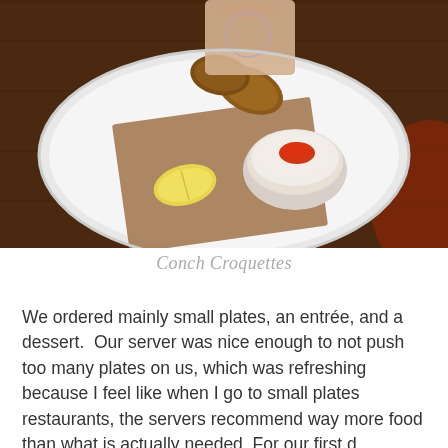[Figure (photo): Photo of a restaurant dish: a white plate with conch croquettes (fried brown pieces), a lemon wedge, a small white ramekin with a creamy dip topped with red sauce/garnish, and a brown paper napkin underneath. Warm dim restaurant lighting with reddish ambient light on the right.]
Conch Croquettes
We ordered mainly small plates, an entrée, and a dessert.  Our server was nice enough to not push too many plates on us, which was refreshing because I feel like when I go to small plates restaurants, the servers recommend way more food than what is actually needed. For our first d